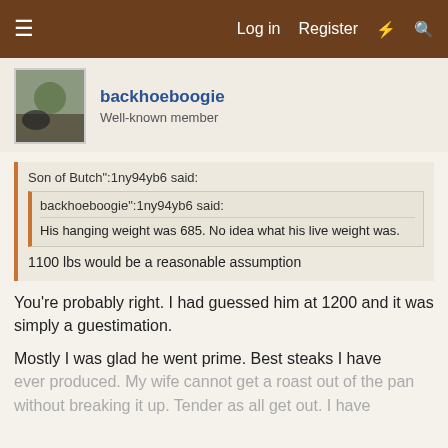☰  Log in  Register  ⚡  🔍
backhoeboogie
Well-known member
Son of Butch":1ny94yb6 said:
  backhoeboogie":1ny94yb6 said:
    His hanging weight was 685. No idea what his live weight was.
  1100 lbs would be a reasonable assumption
You're probably right. I had guessed him at 1200 and it was simply a guestimation.
Mostly I was glad he went prime. Best steaks I have ever produced. My wife cannot get a roast out of the pan without breaking it up. Tender as all get out. I have